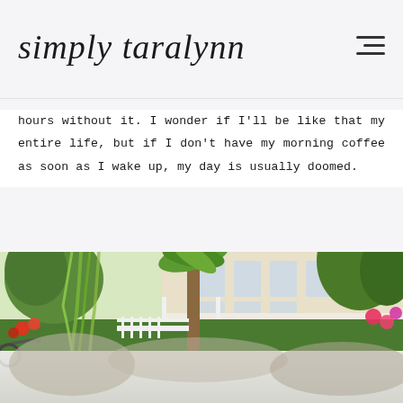simply taralynn
hours without it. I wonder if I'll be like that my entire life, but if I don't have my morning coffee as soon as I wake up, my day is usually doomed.
[Figure (photo): Outdoor scene with lush green trees including moss-draped and palm trees, white fence, colorful flowers, and a white Southern-style building with large windows in the background. A bicycle is partially visible in the lower left. A second partially visible photo shows more of the same scene from below.]